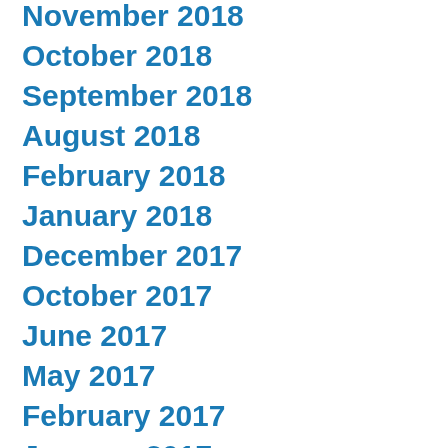November 2018
October 2018
September 2018
August 2018
February 2018
January 2018
December 2017
October 2017
June 2017
May 2017
February 2017
January 2017